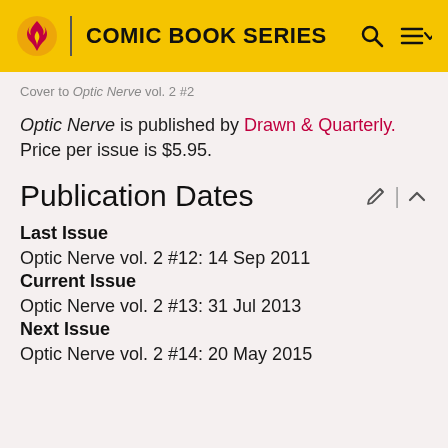COMIC BOOK SERIES
Cover to Optic Nerve vol. 2 #2
Optic Nerve is published by Drawn & Quarterly. Price per issue is $5.95.
Publication Dates
Last Issue
Optic Nerve vol. 2 #12: 14 Sep 2011
Current Issue
Optic Nerve vol. 2 #13: 31 Jul 2013
Next Issue
Optic Nerve vol. 2 #14: 20 May 2015